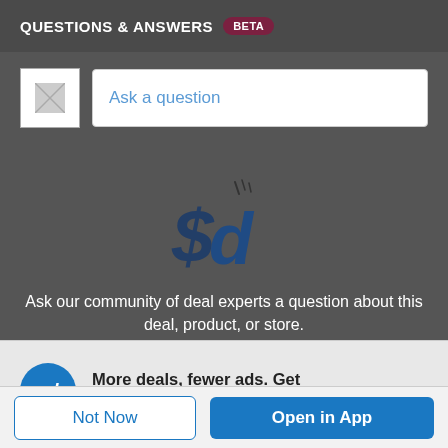QUESTIONS & ANSWERS BETA
Ask a question
[Figure (logo): Slickdeals logo — stylized '$d' with dollar sign and lowercase d in dark blue, cartoon style]
Ask our community of deal experts a question about this deal, product, or store.
More deals, fewer ads. Get the Slickdeals App today!
Not Now
Open in App